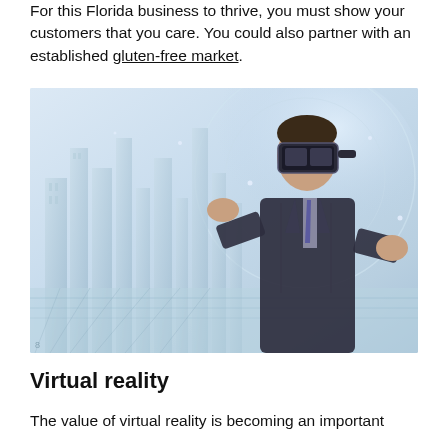For this Florida business to thrive, you must show your customers that you care. You could also partner with an established gluten-free market.
[Figure (photo): A man in a business suit wearing a VR headset, gesturing with his hands over a holographic cityscape with tall buildings rendered in light blue tones.]
Virtual reality
The value of virtual reality is becoming an important